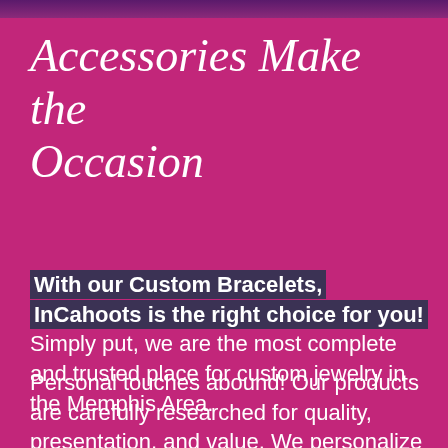Accessories Make the Occasion
With our Custom Bracelets, InCahoots is the right choice for you! Simply put, we are the most complete and trusted place for custom jewelry in the Memphis Area.
Personal touches abound! Our products are carefully researched for quality, presentation, and value. We personalize to fit your style, your message, and theme